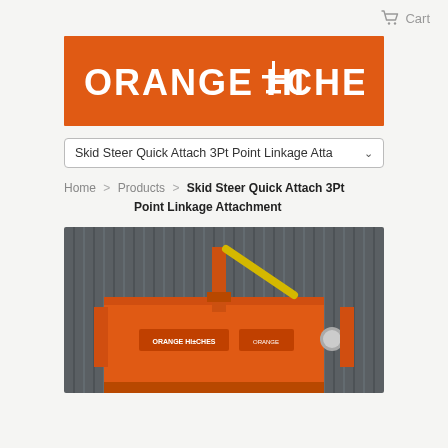Cart
[Figure (logo): Orange Hitches logo — white bold uppercase text 'ORANGE HITCHES' with a stylized hitch/post icon replacing the 'T' in HITCHES, on an orange background rectangle.]
Skid Steer Quick Attach 3Pt Point Linkage Atta (dropdown)
Home > Products > Skid Steer Quick Attach 3Pt Point Linkage Attachment
[Figure (photo): Product photo of an orange Skid Steer Quick Attach 3Pt Point Linkage Attachment mounted against a dark grey corrugated metal wall. The attachment is bright orange with an Orange Hitches logo label. A yellow arm/rod extends upward diagonally from the unit. A metal ball hitch is visible on the right side.]